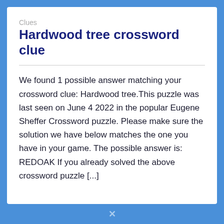Clues
Hardwood tree crossword clue
We found 1 possible answer matching your crossword clue: Hardwood tree.This puzzle was last seen on June 4 2022 in the popular Eugene Sheffer Crossword puzzle. Please make sure the solution we have below matches the one you have in your game. The possible answer is: REDOAK If you already solved the above crossword puzzle [...]